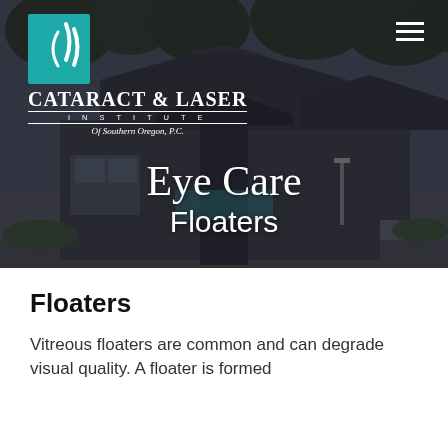[Figure (photo): Aerial/elevated view of Cataract & Laser Institute of Southern Oregon building exterior with dark metal roof, surrounded by trees and parking lot, shown under overcast sky with dark overlay.]
Eye Care
Floaters
Floaters
Vitreous floaters are common and can degrade visual quality. A floater is formed